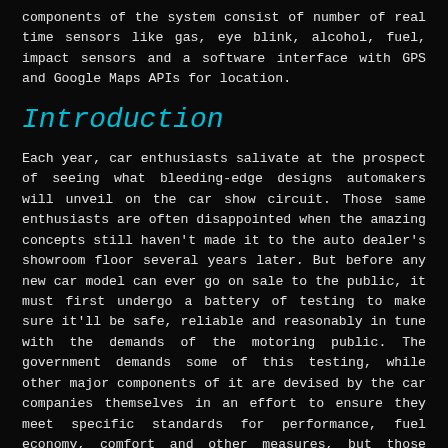components of the system consist of number of real time sensors like gas, eye blink, alcohol, fuel, impact sensors and a software interface with GPS and Google Maps APIs for location.
Introduction
Each year, car enthusiasts salivate at the prospect of seeing what bleeding-edge designs automakers will unveil on the car show circuit. Those same enthusiasts are often disappointed when the amazing concepts still haven't made it to the auto dealer's showroom floor several years later. But before any new car model can ever go on sale to the public, it must first undergo a battery of testing to make sure it'll be safe, reliable and reasonably in tune with the demands of the motoring public. The government demands some of this testing, while other major components of it are devised by the car companies themselves in an effort to ensure they meet specific standards for performance, fuel economy, comfort and other measures, but those which don't are axed. Driving while either intoxicated or drunk is dangerous and drivers with high blood alcohol content or concentration (BAC) are at greatly increased risk of car accidents, highway injuries and vehicular deaths. Every single injury and death caused by drunk driving is totally preventable. At present, drunken drivers have